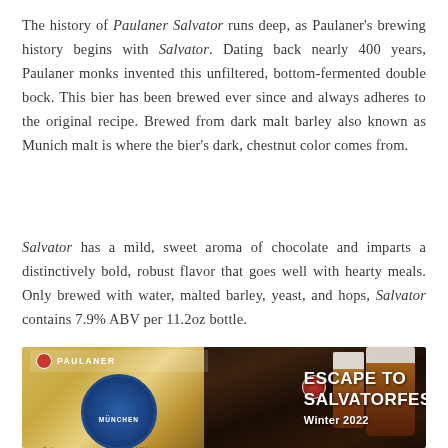The history of Paulaner Salvator runs deep, as Paulaner's brewing history begins with Salvator. Dating back nearly 400 years, Paulaner monks invented this unfiltered, bottom-fermented double bock. This bier has been brewed ever since and always adheres to the original recipe. Brewed from dark malt barley also known as Munich malt is where the bier's dark, chestnut color comes from.
Salvator has a mild, sweet aroma of chocolate and imparts a distinctively bold, robust flavor that goes well with hearty meals. Only brewed with water, malted barley, yeast, and hops, Salvator contains 7.9% ABV per 11.2oz bottle.
[Figure (photo): Paulaner Salvator Doppelbock bottle label on left side with blue circular Munchen badge, red Paulaner text, and italic Salvator script; right side shows dark beer mugs with foam tops against dark background with white text overlay reading ESCAPE TO SALVATORFEST Winter 2022]